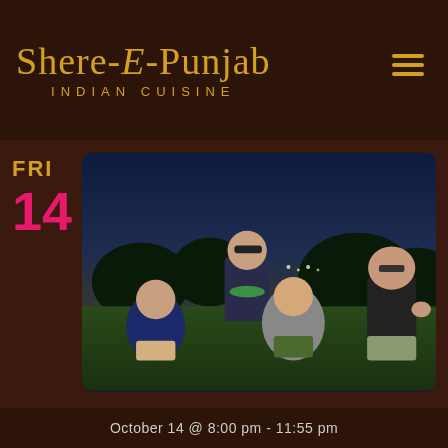Shere-E-Punjab INDIAN CUISINE
FRI
14
[Figure (photo): Four people posing outdoors at night on grass. One person crouching front left wearing navy t-shirt with logo and khaki shorts. One tall person standing behind wearing floral shirt, sunglasses, and lei. One person in center-right crouching in camo shorts and gray t-shirt. One person far right standing in black t-shirt and khaki shorts giving thumbs up. Background shows trees and distant lights.]
October 14 @ 8:00 pm - 11:55 pm